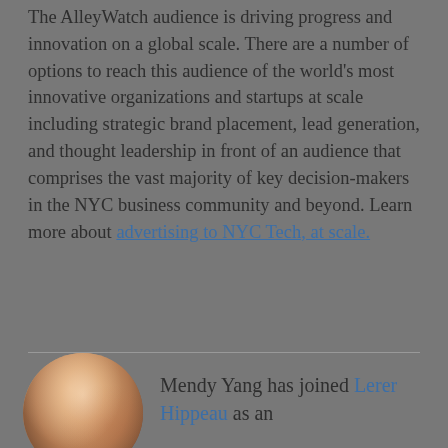The AlleyWatch audience is driving progress and innovation on a global scale. There are a number of options to reach this audience of the world's most innovative organizations and startups at scale including strategic brand placement, lead generation, and thought leadership in front of an audience that comprises the vast majority of key decision-makers in the NYC business community and beyond. Learn more about advertising to NYC Tech, at scale.
Mendy Yang has joined Lerer Hippeau as an